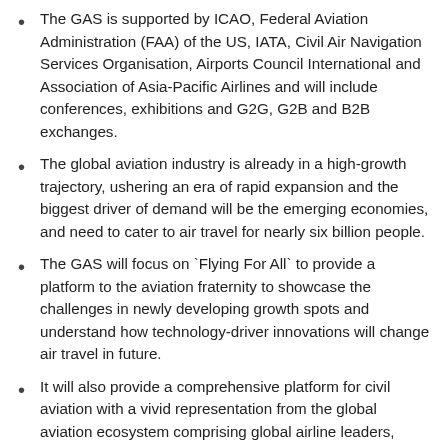The GAS is supported by ICAO, Federal Aviation Administration (FAA) of the US, IATA, Civil Air Navigation Services Organisation, Airports Council International and Association of Asia-Pacific Airlines and will include conferences, exhibitions and G2G, G2B and B2B exchanges.
The global aviation industry is already in a high-growth trajectory, ushering an era of rapid expansion and the biggest driver of demand will be the emerging economies, and need to cater to air travel for nearly six billion people.
The GAS will focus on `Flying For All` to provide a platform to the aviation fraternity to showcase the challenges in newly developing growth spots and understand how technology-driver innovations will change air travel in future.
It will also provide a comprehensive platform for civil aviation with a vivid representation from the global aviation ecosystem comprising global airline leaders, manufacturers, investors, vendors, cargo